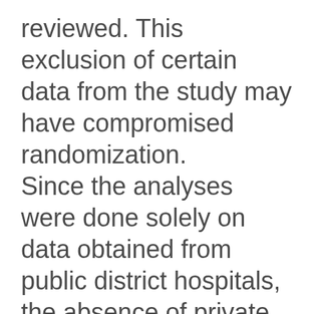reviewed. This exclusion of certain data from the study may have compromised randomization. Since the analyses were done solely on data obtained from public district hospitals, the absence of private hospital admission data means that these results may not be fully representative of Korean hospitals in general.